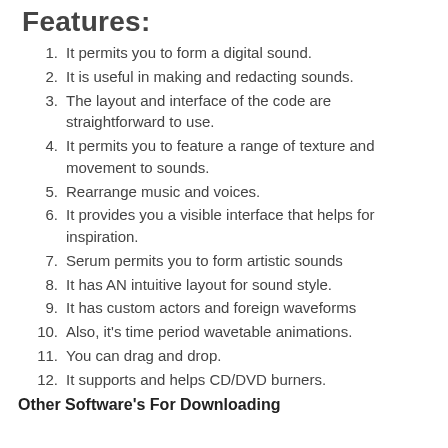Features:
It permits you to form a digital sound.
It is useful in making and redacting sounds.
The layout and interface of the code are straightforward to use.
It permits you to feature a range of texture and movement to sounds.
Rearrange music and voices.
It provides you a visible interface that helps for inspiration.
Serum permits you to form artistic sounds
It has AN intuitive layout for sound style.
It has custom actors and foreign waveforms
Also, it's time period wavetable animations.
You can drag and drop.
It supports and helps CD/DVD burners.
Other Software's For Downloading